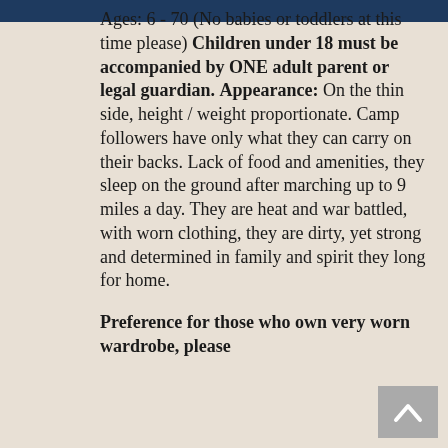[navigation bar]
Ages: 6 - 70 (No babies or toddlers at this time please) Children under 18 must be accompanied by ONE adult parent or legal guardian. Appearance: On the thin side, height / weight proportionate. Camp followers have only what they can carry on their backs. Lack of food and amenities, they sleep on the ground after marching up to 9 miles a day. They are heat and war battled, with worn clothing, they are dirty, yet strong and determined in family and spirit they long for home.

Preference for those who own very worn wardrobe, please